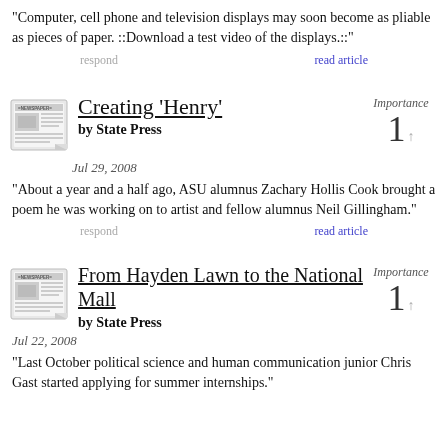“Computer, cell phone and television displays may soon become as pliable as pieces of paper. ::Download a test video of the displays.::”
respond   read article
Creating ‘Henry’
by State Press
Importance 1 ↑
Jul 29, 2008
“About a year and a half ago, ASU alumnus Zachary Hollis Cook brought a poem he was working on to artist and fellow alumnus Neil Gillingham.”
respond   read article
From Hayden Lawn to the National Mall
by State Press
Importance 1 ↑
Jul 22, 2008
“Last October political science and human communication junior Chris Gast started applying for summer internships.”